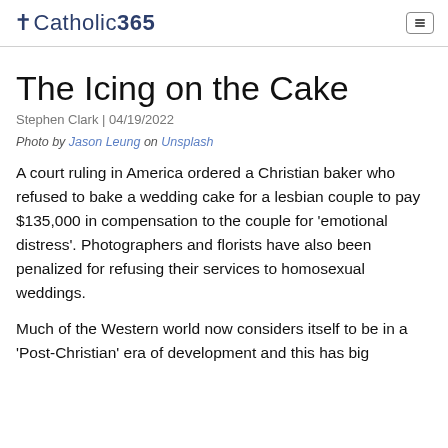†Catholic365
The Icing on the Cake
Stephen Clark | 04/19/2022
Photo by Jason Leung on Unsplash
A court ruling in America ordered a Christian baker who refused to bake a wedding cake for a lesbian couple to pay $135,000 in compensation to the couple for 'emotional distress'. Photographers and florists have also been penalized for refusing their services to homosexual weddings.
Much of the Western world now considers itself to be in a 'Post-Christian' era of development and this has big